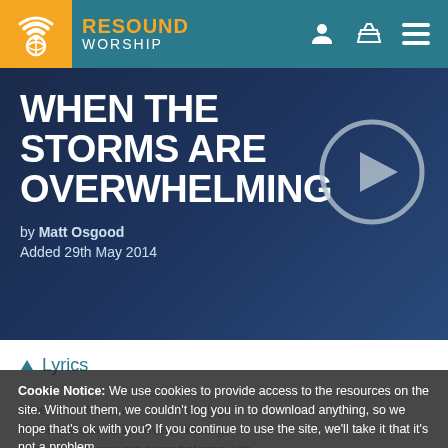RESOUND WORSHIP
WHEN THE STORMS ARE OVERWHELMING
by Matt Osgood
Added 29th May 2014
Lyrics
When the storms are overwhelming,
When the storms are overwhelming,
When the storms are overwhelming with
Come all you
come all you broken,
Cookie Notice: We use cookies to provide access to the resources on the site. Without them, we couldn't log you in to download anything, so we hope that's ok with you? If you continue to use the site, we'll take it that it's not a problem.
IT'S OK WITH ME!